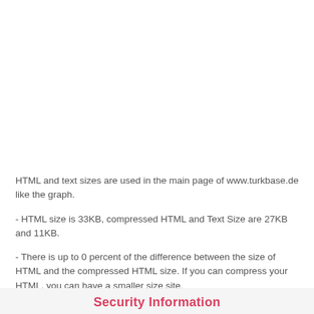HTML and text sizes are used in the main page of www.turkbase.de like the graph.
- HTML size is 33KB, compressed HTML and Text Size are 27KB and 11KB.
- There is up to 0 percent of the difference between the size of HTML and the compressed HTML size. If you can compress your HTML, you can have a smaller size site.
Security Information